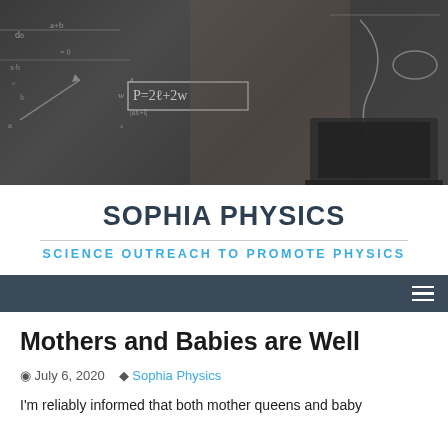[Figure (photo): Woman sitting at laptop with chalkboard background covered in physics/math equations and diagrams. Formula P=2l+2w visible on chalkboard.]
SOPHIA PHYSICS
SCIENCE OUTREACH TO PROMOTE PHYSICS
Navigation menu bar
Mothers and Babies are Well
July 6, 2020   Sophia Physics
I'm reliably informed that both mother queens and baby